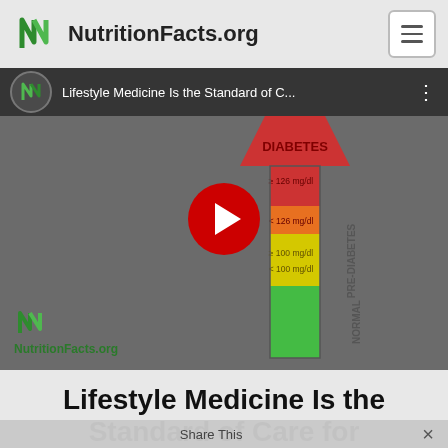NutritionFacts.org
[Figure (screenshot): YouTube video thumbnail showing a diabetes blood glucose level chart with color-coded zones: red arrow pointing up labeled DIABETES (≥ 126 mg/dl), orange/yellow zone labeled PRE-DIABETES (< 126 mg/dl to ≥ 100 mg/dl), and green zone labeled NORMAL (< 100 mg/dl). Video title: Lifestyle Medicine Is the Standard of C... NutritionFacts.org logo in lower left. Red YouTube play button overlay in center.]
Lifestyle Medicine Is the Standard of Care for Prediabetes